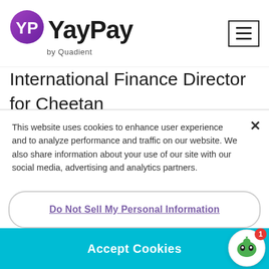[Figure (logo): YayPay by Quadient logo with purple YP icon and bold black YayPay text, plus hamburger menu icon top right]
International Finance Director for Cheetan Digital, a global digital marketing company, he said that “With the help of YayPay’s automated AR platform, we have seen our global DSO reduce by over 25 days. On average our clients
This website uses cookies to enhance user experience and to analyze performance and traffic on our website. We also share information about your use of our site with our social media, advertising and analytics partners.
Do Not Sell My Personal Information
Accept Cookies